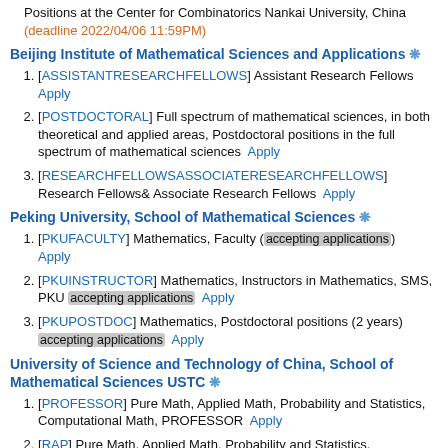Positions at the Center for Combinatorics Nankai University, China (deadline 2022/04/06 11:59PM)
Beijing Institute of Mathematical Sciences and Applications ❋
[ASSISTANTRESEARCHFELLOWS] Assistant Research Fellows Apply
[POSTDOCTORAL] Full spectrum of mathematical sciences, in both theoretical and applied areas, Postdoctoral positions in the full spectrum of mathematical sciences Apply
[RESEARCHFELLOWSASSOCIATERESEARCHFELLOWS] Research Fellows& Associate Research Fellows Apply
Peking University, School of Mathematical Sciences ❋
[PKUFACULTY] Mathematics, Faculty (accepting applications) Apply
[PKUINSTRUCTOR] Mathematics, Instructors in Mathematics, SMS, PKU (accepting applications) Apply
[PKUPOSTDOC] Mathematics, Postdoctoral positions (2 years) (accepting applications) Apply
University of Science and Technology of China, School of Mathematical Sciences USTC ❋
[PROFESSOR] Pure Math, Applied Math, Probability and Statistics, Computational Math, PROFESSOR Apply
[RAP] Pure Math, Applied Math, Probability and Statistics, Computational Math, Research Assistant Professor...